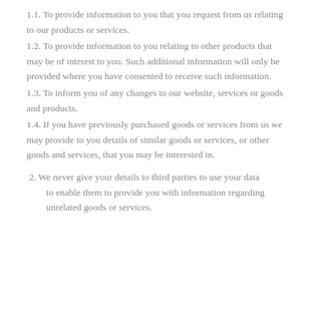1.1. To provide information to you that you request from us relating to our products or services.
1.2. To provide information to you relating to other products that may be of interest to you. Such additional information will only be provided where you have consented to receive such information.
1.3. To inform you of any changes to our website, services or goods and products.
1.4. If you have previously purchased goods or services from us we may provide to you details of similar goods or services, or other goods and services, that you may be interested in.
2. We never give your details to third parties to use your data to enable them to provide you with information regarding unrelated goods or services.